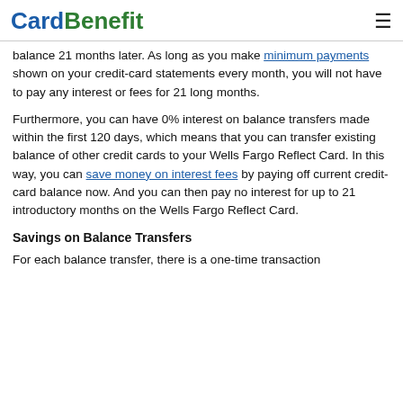CardBenefit
balance 21 months later. As long as you make minimum payments shown on your credit-card statements every month, you will not have to pay any interest or fees for 21 long months.
Furthermore, you can have 0% interest on balance transfers made within the first 120 days, which means that you can transfer existing balance of other credit cards to your Wells Fargo Reflect Card. In this way, you can save money on interest fees by paying off current credit-card balance now. And you can then pay no interest for up to 21 introductory months on the Wells Fargo Reflect Card.
Savings on Balance Transfers
For each balance transfer, there is a one-time transaction